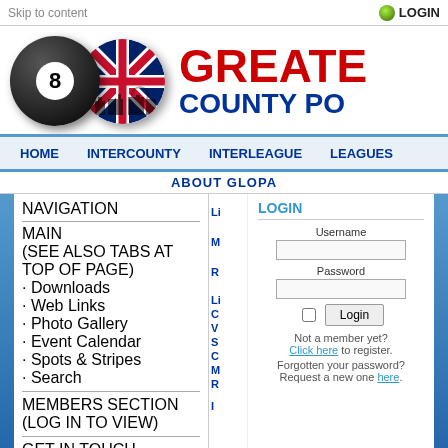Skip to content | LOGIN
[Figure (logo): 8-ball and UK flag circle logo with text GREATER COUNTY PO...]
HOME | INTERCOUNTY | INTERLEAGUE | LEAGUES
ABOUT GLOPA
NAVIGATION
MAIN
(SEE ALSO TABS AT TOP OF PAGE)
· Downloads
· Web Links
· Photo Gallery
· Event Calendar
· Spots & Stripes
· Search
MEMBERS SECTION (LOG IN TO VIEW)
GET IN TOUCH
· Contact Us
LOGIN
Username
Password
Not a member yet? Click here to register.
Forgotten your password? Request a new one here.
RANDOM QUOTE